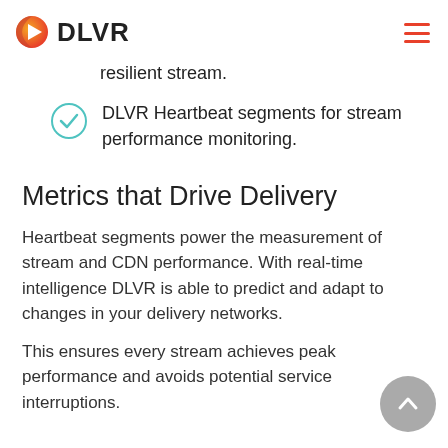DLVR
resilient stream.
DLVR Heartbeat segments for stream performance monitoring.
Metrics that Drive Delivery
Heartbeat segments power the measurement of stream and CDN performance. With real-time intelligence DLVR is able to predict and adapt to changes in your delivery networks.
This ensures every stream achieves peak performance and avoids potential service interruptions.